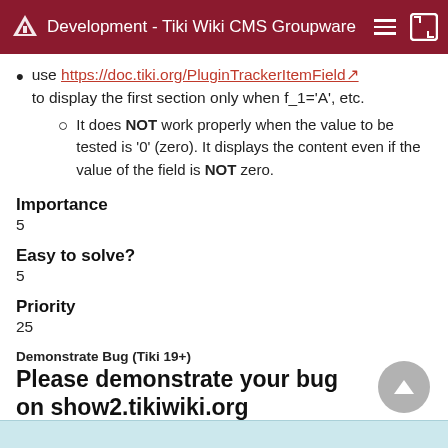Development - Tiki Wiki CMS Groupware
use https://doc.tiki.org/PluginTrackerItemField to display the first section only when f_1='A', etc.
It does NOT work properly when the value to be tested is '0' (zero). It displays the content even if the value of the field is NOT zero.
Importance
5
Easy to solve?
5
Priority
25
Demonstrate Bug (Tiki 19+)
Please demonstrate your bug on show2.tikiwiki.org